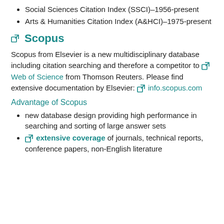Social Sciences Citation Index (SSCI)--1956-present
Arts & Humanities Citation Index (A&HCI)--1975-present
Scopus
Scopus from Elsevier is a new multidisciplinary database including citation searching and therefore a competitor to Web of Science from Thomson Reuters. Please find extensive documentation by Elsevier: info.scopus.com
Advantage of Scopus
new database design providing high performance in searching and sorting of large answer sets
extensive coverage of journals, technical reports, conference papers, non-English literature